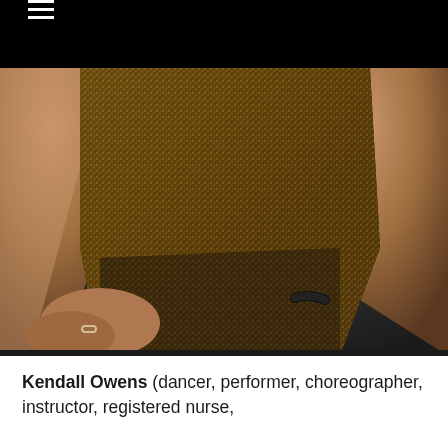≡
[Figure (photo): Close-up photo of a person wearing a black and gold glittery dress, showing torso and hands. The person wears a ring on one finger and a black bracelet on one wrist. Dark grey studio background.]
Kendall Owens (dancer, performer, choreographer, instructor, registered nurse,